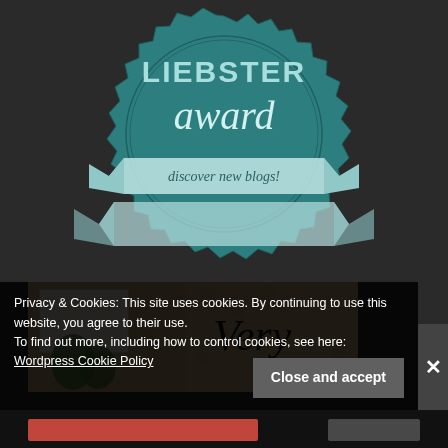[Figure (illustration): Liebster Award badge — teal circular seal with jagged edge, 'LIEBSTER award' text and 'discover new blogs!' banner in cursive on light blue ribbon, dark background]
[Figure (photo): Partial photo showing a decorated interior with green plants, a white card, and the word 'Very' in cursive script, warm golden background with floral wallpaper]
Privacy & Cookies: This site uses cookies. By continuing to use this website, you agree to their use.
To find out more, including how to control cookies, see here:
Wordpress Cookie Policy
Close and accept